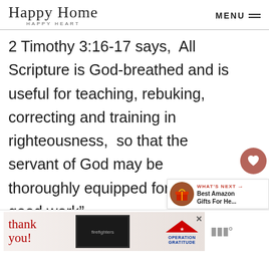Happy Home Happy Heart | MENU
2 Timothy 3:16-17 says,  All Scripture is God-breathed and is useful for teaching, rebuking, correcting and training in righteousness,  so that the servant of God may be thoroughly equipped for every good work”.
[Figure (other): Heart (like/save) button icon - circular brown/mauve button with heart symbol]
[Figure (other): Share button icon - circular light grey button with share symbol]
[Figure (other): What's Next promotional box with gift image thumbnail and text: Best Amazon Gifts For He...]
[Figure (other): Advertisement banner: 'Thank you!' with Operation Gratitude logo and firefighter image]